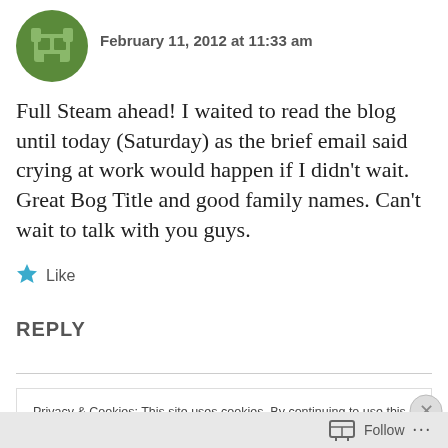February 11, 2012 at 11:33 am
Full Steam ahead! I waited to read the blog until today (Saturday) as the brief email said crying at work would happen if I didn't wait. Great Bog Title and good family names. Can't wait to talk with you guys.
Like
REPLY
Privacy & Cookies: This site uses cookies. By continuing to use this website, you agree to their use. To find out more, including how to control cookies, see here: Cookie Policy
Close and accept
Follow